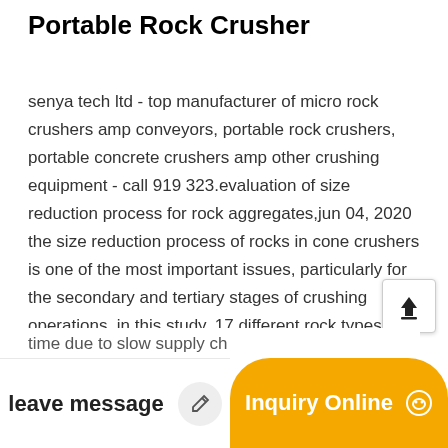Portable Rock Crusher
senya tech ltd - top manufacturer of micro rock crushers amp conveyors, portable rock crushers, portable concrete crushers amp other crushing equipment - call 919 323.evaluation of size reduction process for rock aggregates,jun 04, 2020 the size reduction process of rocks in cone crushers is one of the most important issues, particularly for the secondary and tertiary stages of crushing operations. in this study, 17 different rock types were considered for the evaluation of their size reduction variations that occurred in a laboratory-scale cone crusher. based on several mineralogical, physico-mechanical, and aggregate rock crush
time due to slow supply ch